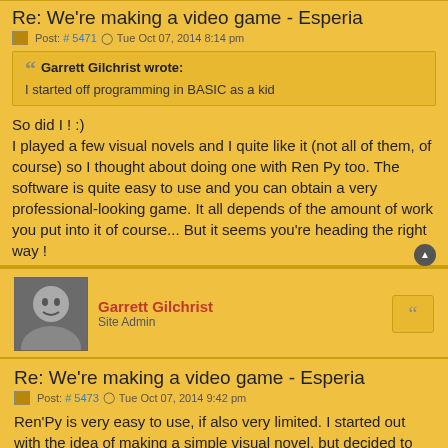Re: We're making a video game - Esperia
Post: # 5471  Tue Oct 07, 2014 8:14 pm
Garrett Gilchrist wrote:
I started off programming in BASIC as a kid
So did I ! :)
I played a few visual novels and I quite like it (not all of them, of course) so I thought about doing one with Ren Py too. The software is quite easy to use and you can obtain a very professional-looking game. It all depends of the amount of work you put into it of course... But it seems you're heading the right way !
Garrett Gilchrist
Site Admin
Re: We're making a video game - Esperia
Post: # 5473  Tue Oct 07, 2014 9:42 pm
Ren'Py is very easy to use, if also very limited. I started out with the idea of making a simple visual novel, but decided to create a full-on